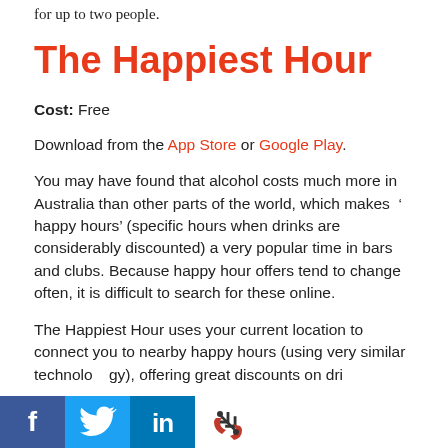for up to two people.
The Happiest Hour
Cost: Free
Download from the App Store or Google Play.
You may have found that alcohol costs much more in Australia than other parts of the world, which makes ‘ happy hours’ (specific hours when drinks are considerably discounted) a very popular time in bars and clubs. Because happy hour offers tend to change often, it is difficult to search for these online.
The Happiest Hour uses your current location to connect you to nearby happy hours (using very similar technology), offering great discounts on drinks, food, activities and events